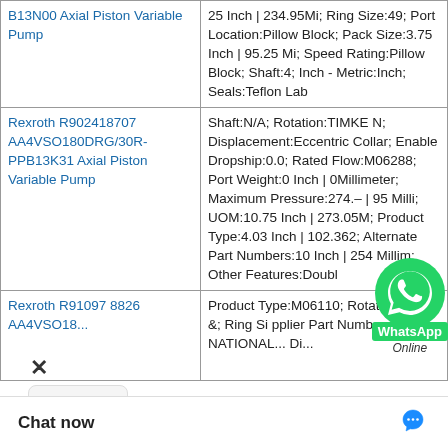| Product Name | Description |
| --- | --- |
| B13N00 Axial Piston Variable Pump | 25 Inch | 234.95Mi; Ring Size:49; Port Location:Pillow Block; Pack Size:3.75 Inch | 95.25 Mi; Speed Rating:Pillow Block; Shaft:4; Inch - Metric:Inch; Seals:Teflon Lab |
| Rexroth R902418707 AA4VSO180DRG/30R-PPB13K31 Axial Piston Variable Pump | Shaft:N/A; Rotation:TIMKEN; Displacement:Eccentric Collar; Enable Dropship:0.0; Rated Flow:M06288; Port Weight:0 Inch | 0Millimeter; Maximum Pressure:274.– | 95 Milli; UOM:10.75 Inch | 273.05M; Product Type:4.03 Inch | 102.362; Alternate Part Numbers:10 Inch | 254 Millim; Other Features:Doubl |
| Rexroth R91097 8826 AA4VSO18... | Product Type:M06110; Rotated Units &; Ring Si... pplier Part Numbe ...NATIONAL...Di... |
[Figure (other): WhatsApp Online chat widget overlay with green WhatsApp icon, 'WhatsApp' label, and 'Online' text]
[Figure (other): Close (X) button and three-dots menu for chat widget]
Chat now